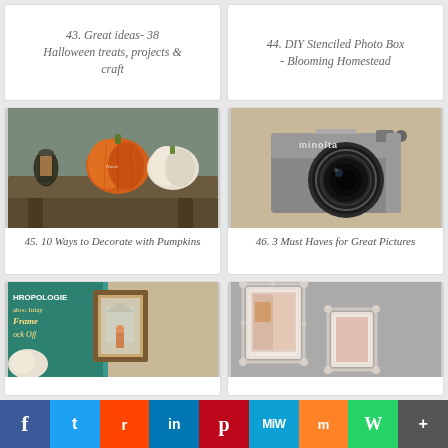43. Great ideas- 38 Halloween treats, projects & craft
44. DIY Stenciled Photo Box - Blooming Homestead
[Figure (photo): Photo of decorative lantern and pumpkins on a wooden bench - pumpkins include orange and white varieties]
45. 10 Ways to Decorate with Pumpkins
[Figure (photo): Close-up photo of a Minolta film camera with large lens]
46. 3 Must Haves for Great Pictures
[Figure (photo): DIY Anthropologie Bamboo Inlay Frame Knock Off - teal frame with photos]
[Figure (photo): Ornate white decorative picture frames mounted on gray wall]